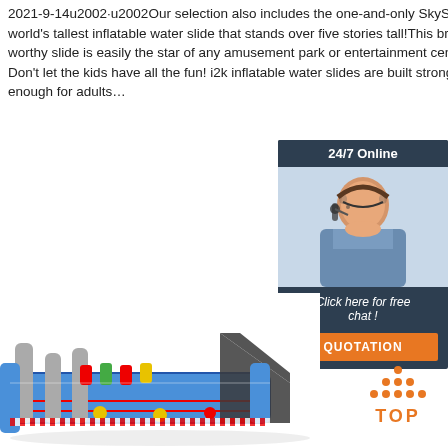2021-9-14u2002·u2002Our selection also includes the one-and-only SkySlide, the world's tallest inflatable water slide that stands over five stories tall!This brag-worthy slide is easily the star of any amusement park or entertainment center. Don't let the kids have all the fun! i2k inflatable water slides are built strong enough for adults...
[Figure (other): Orange 'Get Price' button]
[Figure (other): 24/7 online chat widget with female customer service agent wearing headset, 'Click here for free chat!' text and orange QUOTATION button]
[Figure (photo): Large colorful inflatable amusement park obstacle course structure with blue, red, yellow elements]
[Figure (logo): Orange TOP logo with dots arranged in triangle above the word TOP]